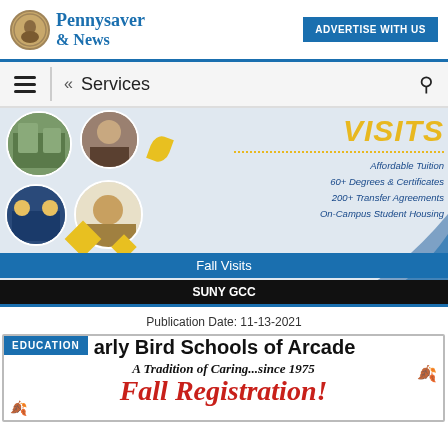[Figure (logo): Pennysaver & News logo with circular portrait icon]
[Figure (infographic): ADVERTISE WITH US button in blue]
[Figure (infographic): Navigation bar with hamburger menu, Services label, and search icon]
[Figure (photo): SUNY GCC Fall Visits advertisement banner with campus photos, yellow VISITS text, and features: Affordable Tuition, 60+ Degrees & Certificates, 200+ Transfer Agreements, On-Campus Student Housing]
Fall Visits
SUNY GCC
Publication Date: 11-13-2021
[Figure (infographic): Early Bird Schools of Arcade advertisement with EDUCATION tag, subtitle A Tradition of Caring...since 1975, and Fall Registration text]